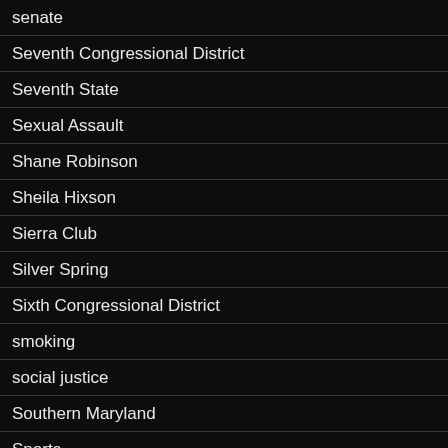senate
Seventh Congressional District
Seventh State
Sexual Assault
Shane Robinson
Sheila Hixson
Sierra Club
Silver Spring
Sixth Congressional District
smoking
social justice
Southern Maryland
Sports